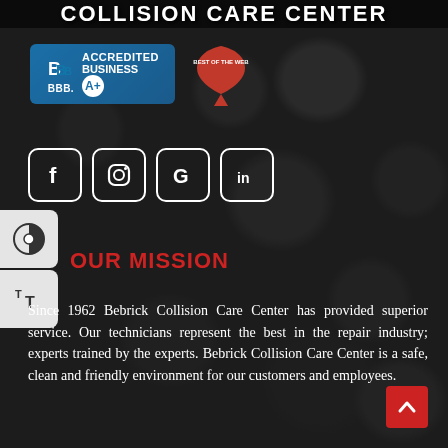COLLISION CARE CENTER
[Figure (logo): BBB Accredited Business A+ badge with blue background]
[Figure (logo): Red heart-shaped badge with text]
[Figure (infographic): Social media icons: Facebook, Instagram, Google, LinkedIn in white rounded square outlines]
[Figure (infographic): Accessibility widget buttons: contrast toggle and text size toggle]
OUR MISSION
Since 1962 Bebrick Collision Care Center has provided superior service. Our technicians represent the best in the repair industry; experts trained by the experts. Bebrick Collision Care Center is a safe, clean and friendly environment for our customers and employees.